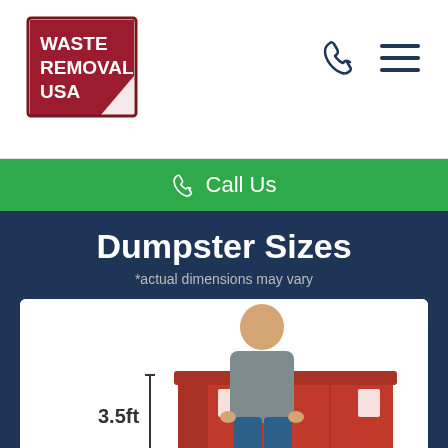[Figure (logo): Waste Removal USA logo — red trapezoid shape with white text reading WASTE REMOVAL USA and a white triangle accent]
Call Us
Dumpster Sizes
*actual dimensions may vary
[Figure (illustration): Photo of a man standing in front of a red dumpster with dimension annotations: 3.5ft height, 7.5ft width, 14ft length]